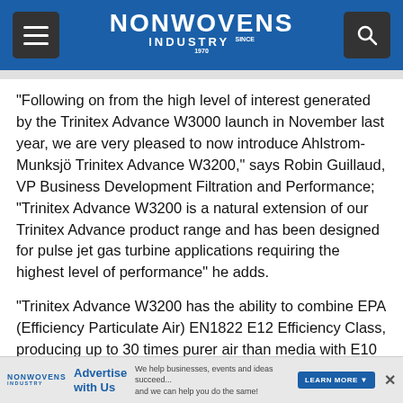NONWOVENS INDUSTRY
“Following on from the high level of interest generated by the Trinitex Advance W3000 launch in November last year, we are very pleased to now introduce Ahlstrom-Munksjö Trinitex Advance W3200,” says Robin Guillaud, VP Business Development Filtration and Performance; “Trinitex Advance W3200 is a natural extension of our Trinitex Advance product range and has been designed for pulse jet gas turbine applications requiring the highest level of performance” he adds.
“Trinitex Advance W3200 has the ability to combine EPA (Efficiency Particulate Air) EN1822 E12 Efficiency Class, producing up to 30 times purer air than media with E10 Efficiency whilst delivering unrivaled protection of the gas
NONWOVENS INDUSTRY | Advertise with Us | We help businesses, events and ideas succeed... and we can help you do the same! | LEARN MORE